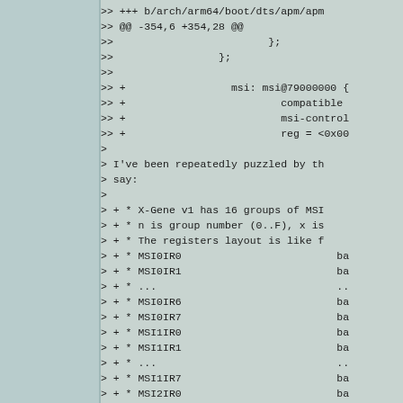>> +++ b/arch/arm64/boot/dts/apm/apm...
>> @@ -354,6 +354,28 @@
>>                         };
>>                 };
>>
>> +                 msi: msi@79000000 {
>> +                         compatible
>> +                         msi-control
>> +                         reg = <0x00
>
> I've been repeatedly puzzled by th
> say:
>
> + * X-Gene v1 has 16 groups of MSI
> + * n is group number (0..F), x is
> + * The registers layout is like f
> + * MSI0IR0                         ba
> + * MSI0IR1                         ba
> + * ...                             ..
> + * MSI0IR6                         ba
> + * MSI0IR7                         ba
> + * MSI1IR0                         ba
> + * MSI1IR1                         ba
> + * ...                             ..
> + * MSI1IR7                         ba
> + * MSI2IR0                         ba
> + * ...                             ..
> + * MSIFIR0                         ba
> + * MSIFIR1                         ba
> + * ...